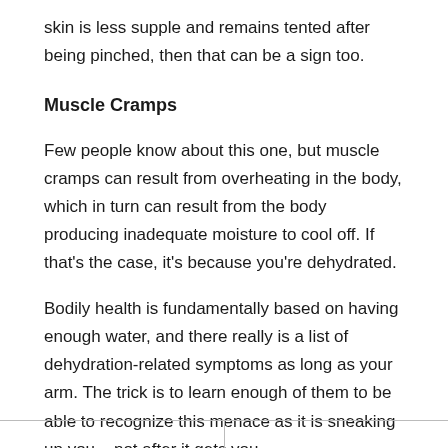skin is less supple and remains tented after being pinched, then that can be a sign too.
Muscle Cramps
Few people know about this one, but muscle cramps can result from overheating in the body, which in turn can result from the body producing inadequate moisture to cool off. If that's the case, it's because you're dehydrated.
Bodily health is fundamentally based on having enough water, and there really is a list of dehydration-related symptoms as long as your arm. The trick is to learn enough of them to be able to recognize this menace as it is sneaking up you – not after it gets you.